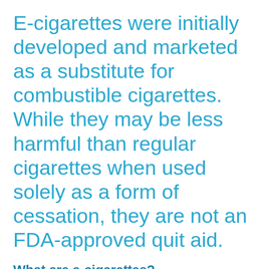E-cigarettes were initially developed and marketed as a substitute for combustible cigarettes. While they may be less harmful than regular cigarettes when used solely as a form of cessation, they are not an FDA-approved quit aid.
What are e-cigarettes?
E-cigarettes are battery-operated devices that heat a solution (or e-liquid) and convert it into an aerosol (not a vapor), which is then inhaled and delivers nicotine and other chemicals to the user.